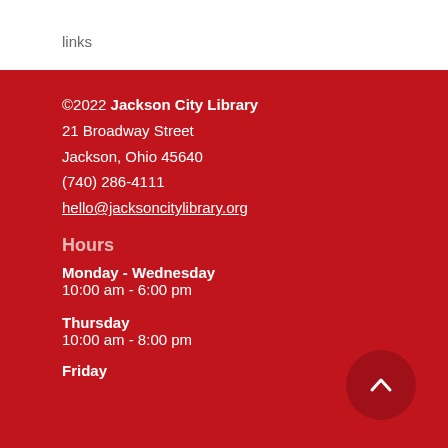links
©2022 Jackson City Library
21 Broadway Street
Jackson, Ohio 45640
(740) 286-4111
hello@jacksoncitylibrary.org
Hours
Monday - Wednesday
10:00 am - 6:00 pm
Thursday
10:00 am - 8:00 pm
Friday